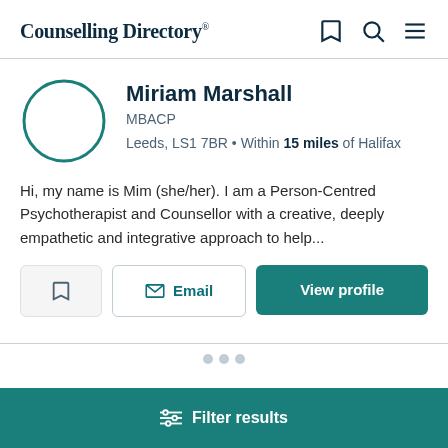Counselling Directory
Miriam Marshall
MBACP
Leeds, LS1 7BR • Within 15 miles of Halifax
Hi, my name is Mim (she/her). I am a Person-Centred Psychotherapist and Counsellor with a creative, deeply empathetic and integrative approach to help...
Email
View profile
Filter results